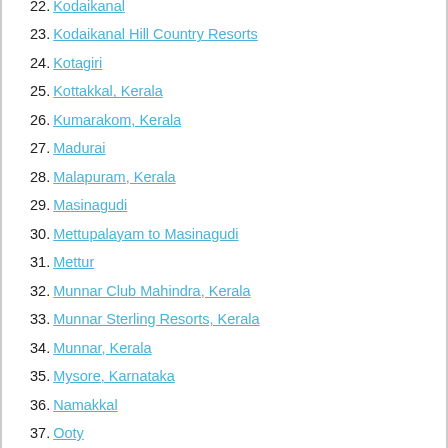22. Kodaikanal
23. Kodaikanal Hill Country Resorts
24. Kotagiri
25. Kottakkal, Kerala
26. Kumarakom, Kerala
27. Madurai
28. Malapuram, Kerala
29. Masinagudi
30. Mettupalayam to Masinagudi
31. Mettur
32. Munnar Club Mahindra, Kerala
33. Munnar Sterling Resorts, Kerala
34. Munnar, Kerala
35. Mysore, Karnataka
36. Namakkal
37. Ooty
38. Ooty Good Shepherd International School - Palada
39. Ooty Sterling Resorts - Fern Hill
40. Ooty to Kodaikanal